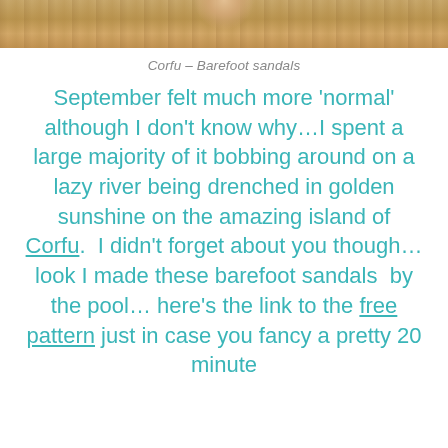[Figure (photo): Partial photo showing a wooden surface with a finger/hand visible at top, cropped at top of page]
Corfu – Barefoot sandals
September felt much more 'normal' although I don't know why…I spent a large majority of it bobbing around on a lazy river being drenched in golden sunshine on the amazing island of Corfu.  I didn't forget about you though…look I made these barefoot sandals  by the pool… here's the link to the free pattern just in case you fancy a pretty 20 minute